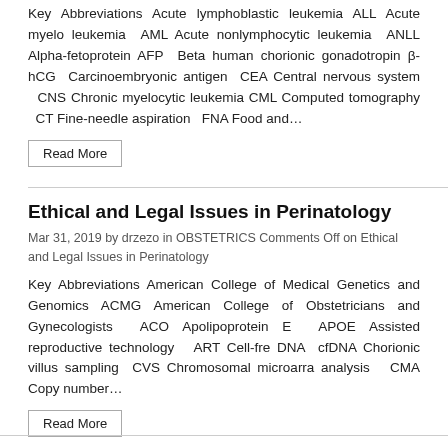Key Abbreviations Acute lymphoblastic leukemia ALL Acute myelo leukemia AML Acute nonlymphocytic leukemia ANLL Alpha-fetoprotein AFP Beta human chorionic gonadotropin β-hCG Carcinoembryonic antigen CEA Central nervous system CNS Chronic myelocytic leukemia CML Computed tomography CT Fine-needle aspiration FNA Food and…
Read More
Ethical and Legal Issues in Perinatology
Mar 31, 2019 by drzezo in OBSTETRICS Comments Off on Ethical and Legal Issues in Perinatology
Key Abbreviations American College of Medical Genetics and Genomics ACMG American College of Obstetricians and Gynecologists ACOG Apolipoprotein E APOE Assisted reproductive technology ART Cell-free DNA cfDNA Chorionic villus sampling CVS Chromosomal microarray analysis CMA Copy number…
Read More